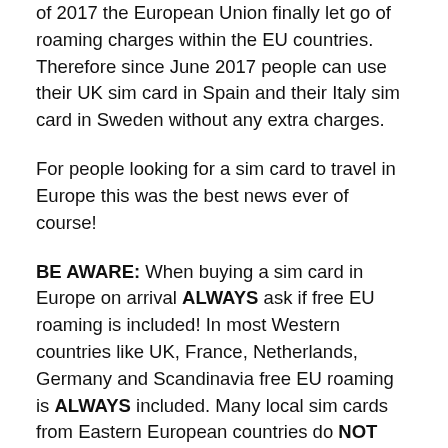of 2017 the European Union finally let go of roaming charges within the EU countries. Therefore since June 2017 people can use their UK sim card in Spain and their Italy sim card in Sweden without any extra charges.
For people looking for a sim card to travel in Europe this was the best news ever of course!
BE AWARE: When buying a sim card in Europe on arrival ALWAYS ask if free EU roaming is included! In most Western countries like UK, France, Netherlands, Germany and Scandinavia free EU roaming is ALWAYS included. Many local sim cards from Eastern European countries do NOT included free EU roaming.
Check the link for a list of the best European sim cards for travelers in 2022 that you can buy online before your trip.